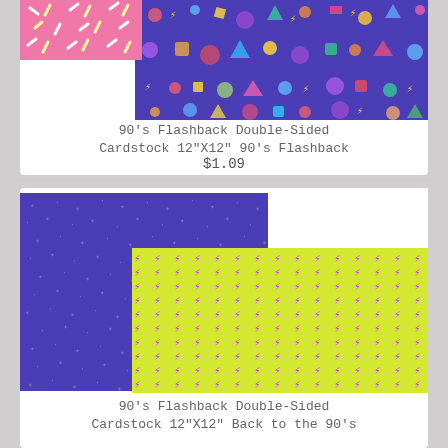[Figure (photo): Product image of 90's Flashback Double-Sided Cardstock showing pink patterned sheet and purple sheet with geometric shapes]
90's Flashback Double-Sided Cardstock 12"X12" 90's Flashback
$1.09
[Figure (photo): Product image of 90's Flashback Double-Sided Cardstock showing purple sheet with star pattern and yellow sheet with pink lightning bolt pattern]
90's Flashback Double-Sided Cardstock 12"X12" Back to the 90's